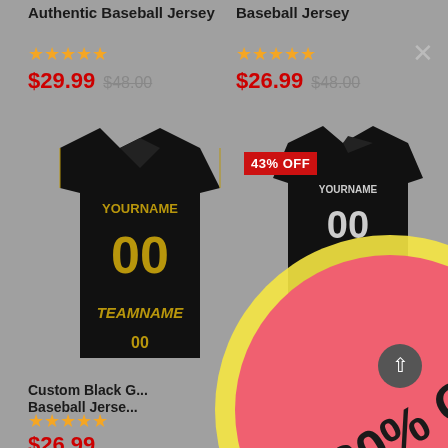Authentic Baseball Jersey
Baseball Jersey
★★★★☆ $29.99  $48.00
★★★★☆ $26.99  $48.00
[Figure (photo): Black custom baseball jersey with gold text YOURNAME, 00, TEAMNAME on front]
43% OFF
[Figure (photo): Black custom baseball jersey showing back with YOURNAME and 00, partially obscured by promo overlay]
[Figure (infographic): Large circular pink/red promo badge with yellow border showing '30% OFF' text in dark letters, overlaid on shopping page]
Custom Black G... Baseball Jerse...
★★★★☆ $26.99